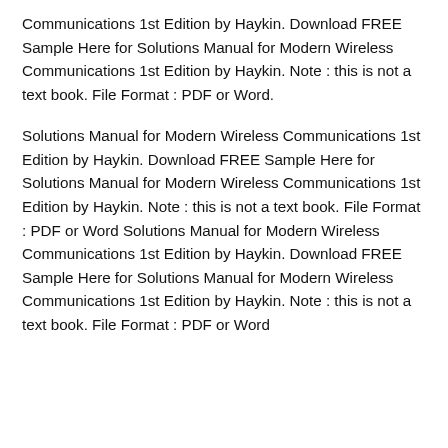Communications 1st Edition by Haykin. Download FREE Sample Here for Solutions Manual for Modern Wireless Communications 1st Edition by Haykin. Note : this is not a text book. File Format : PDF or Word.
Solutions Manual for Modern Wireless Communications 1st Edition by Haykin. Download FREE Sample Here for Solutions Manual for Modern Wireless Communications 1st Edition by Haykin. Note : this is not a text book. File Format : PDF or Word Solutions Manual for Modern Wireless Communications 1st Edition by Haykin. Download FREE Sample Here for Solutions Manual for Modern Wireless Communications 1st Edition by Haykin. Note : this is not a text book. File Format : PDF or Word